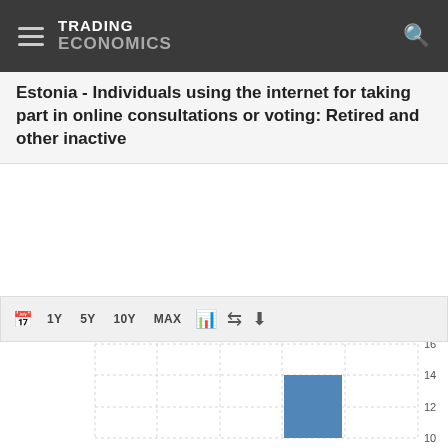TRADING ECONOMICS
Estonia - Individuals using the internet for taking part in online consultations or voting: Retired and other inactive
[Figure (bar-chart): Estonia - Individuals using the internet for taking part in online consultations or voting: Retired and other inactive]